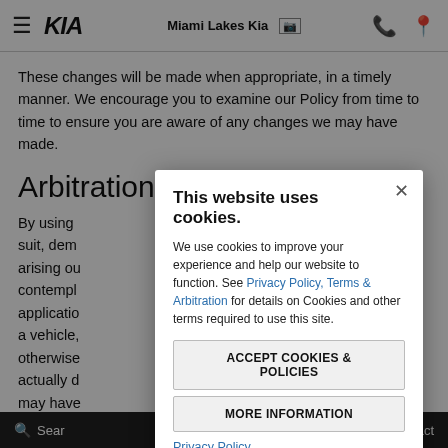Miami Lakes Kia
These changes will be made when appropriate, in a timely manner. We encourage you to examine our Policy from time to time to ensure you are aware of any changes we may have made.
Arbitration Agreement:
By using [obscured by modal] claim, suit, dem[obscured] plaint, arising ou[obscured] contempl[obscured] a credit applicatio[obscured] ncing for a vehicle, [obscured] otherwise[obscured] al was actually d[obscured] that may hav[obscured] nship with the [obscured] / or the validity a[obscured] be
[Figure (screenshot): Cookie consent modal dialog with title 'This website uses cookies.', body text about cookie usage with links to Privacy Policy and Terms & Arbitration, two buttons: ACCEPT COOKIES & POLICIES and MORE INFORMATION, and a Privacy Policy link at the bottom.]
Search   Contact